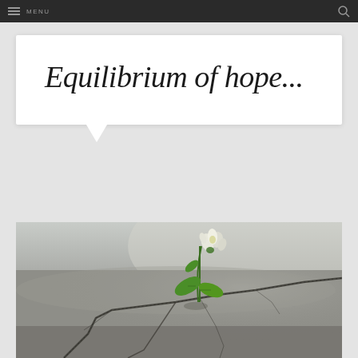MENU
Equilibrium of hope...
[Figure (photo): A small white flower with green leaves growing up through a crack in a concrete pavement, symbolizing hope and resilience. The background is a blurred concrete surface with visible cracks radiating outward.]